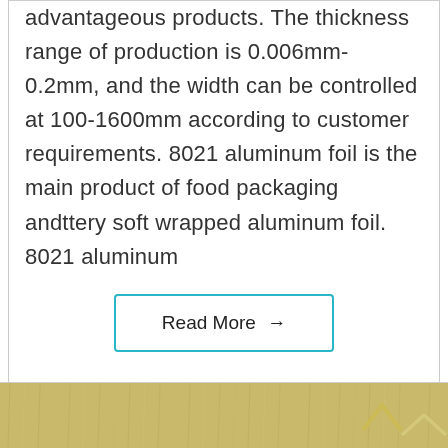advantageous products. The thickness range of production is 0.006mm-0.2mm, and the width can be controlled at 100-1600mm according to customer requirements. 8021 aluminum foil is the main product of food packaging andttery soft wrapped aluminum foil. 8021 aluminum
Read More →
[Figure (photo): Brushed metallic gold/beige surface texture, partially visible at the bottom of the page, with a white upward-pointing chevron arrow on the right side]